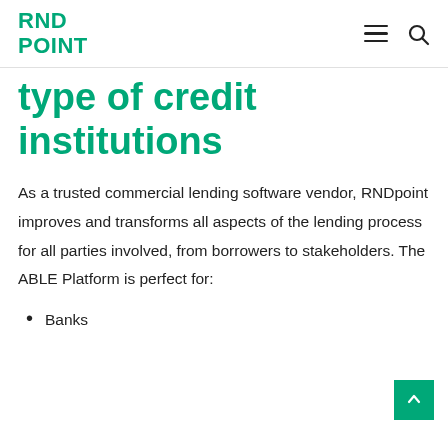RND POINT
type of credit institutions
As a trusted commercial lending software vendor, RNDpoint improves and transforms all aspects of the lending process for all parties involved, from borrowers to stakeholders. The ABLE Platform is perfect for:
Banks